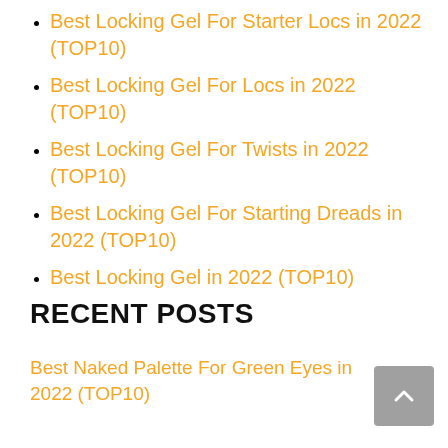Best Locking Gel For Starter Locs in 2022 (TOP10)
Best Locking Gel For Locs in 2022 (TOP10)
Best Locking Gel For Twists in 2022 (TOP10)
Best Locking Gel For Starting Dreads in 2022 (TOP10)
Best Locking Gel in 2022 (TOP10)
RECENT POSTS
Best Naked Palette For Green Eyes in 2022 (TOP10)